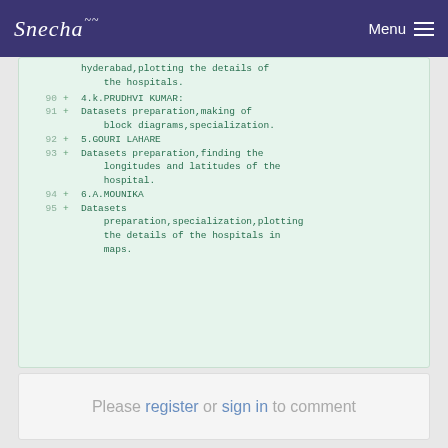Snecha | Menu
hyderabad,plotting the details of the hospitals.
90  + 4.k.PRUDHVI KUMAR:
91  + Datasets preparation,making of block diagrams,specialization.
92  + 5.GOURI LAHARE
93  + Datasets preparation,finding the longitudes and latitudes of the hospital.
94  + 6.A.MOUNIKA
95  + Datasets preparation,specialization,plotting the details of the hospitals in maps.
Please register or sign in to comment